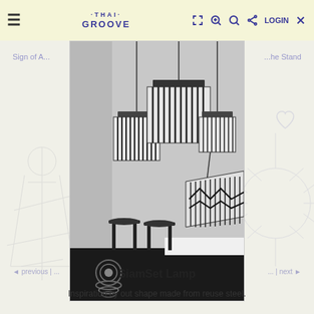≡  ·THAI·GROOVE·  [expand] [zoom+] [search] [share] LOGIN ✕
Sign of A...  ...he Stand
[Figure (photo): Black and white photograph showing multiple geometric pendant lamps with striped metal frame designs hanging from ceiling, with dark stools visible on floor below]
SiamSet Lamp
Inspiration by out shape made from reuse steel.